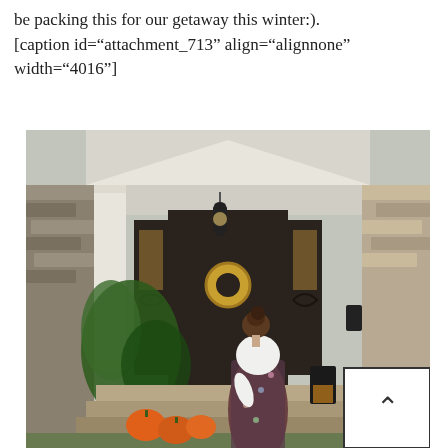be packing this for our getaway this winter:). [caption id="attachment_713" align="alignnone" width="4016"]
[Figure (photo): A woman in a floral dress over a white long-sleeve top stands with her back to the camera on the front porch steps of a house with a large dark double door, stone facade, hanging lantern, wreath, ferns, and pumpkins on the steps.]